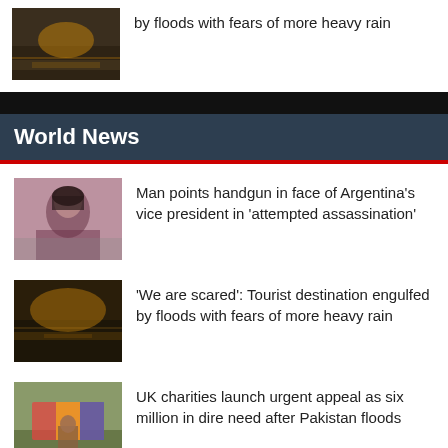[Figure (photo): Flood scene at sunset/dusk with reflections on water]
'We are scared': Tourist destination engulfed by floods with fears of more heavy rain
World News
[Figure (photo): Woman with dark hair, smiling, Argentina vice president]
Man points handgun in face of Argentina's vice president in 'attempted assassination'
[Figure (photo): Flood scene at golden hour with water reflections]
'We are scared': Tourist destination engulfed by floods with fears of more heavy rain
[Figure (photo): Child with colorful fabric/blanket after Pakistan floods]
UK charities launch urgent appeal as six million in dire need after Pakistan floods